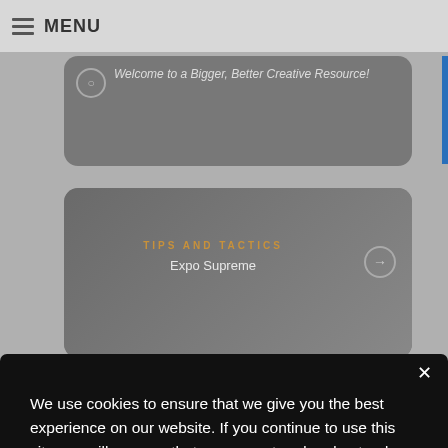☰ MENU
Welcome to a Bigger, Better Creative Resource!
TIPS AND TACTICS
Expo Supreme
We use cookies to ensure that we give you the best experience on our website. If you continue to use this site, we will assume that you accept and understand our Privacy Policy, and our Terms of Use.
Decline
Accept
Share This ∨